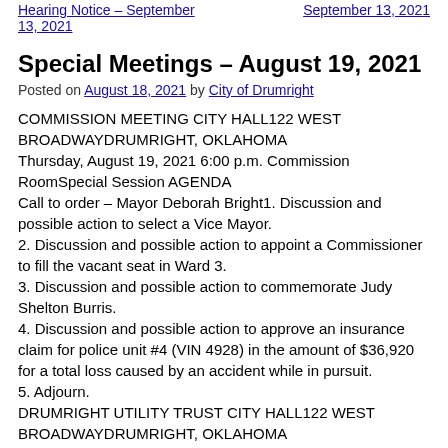Hearing Notice – September 13, 2021 | September 13, 2021
Special Meetings – August 19, 2021
Posted on August 18, 2021 by City of Drumright
COMMISSION MEETING CITY HALL122 WEST BROADWAYDRUMRIGHT, OKLAHOMA
Thursday, August 19, 2021 6:00 p.m. Commission RoomSpecial Session AGENDA
Call to order – Mayor Deborah Bright1. Discussion and possible action to select a Vice Mayor.
2. Discussion and possible action to appoint a Commissioner to fill the vacant seat in Ward 3.
3. Discussion and possible action to commemorate Judy Shelton Burris.
4. Discussion and possible action to approve an insurance claim for police unit #4 (VIN 4928) in the amount of $36,920 for a total loss caused by an accident while in pursuit.
5. Adjourn.
DRUMRIGHT UTILITY TRUST CITY HALL122 WEST BROADWAYDRUMRIGHT, OKLAHOMA
Thursday, August 19, 2021 6:02 p.m. Commission RoomSpecial